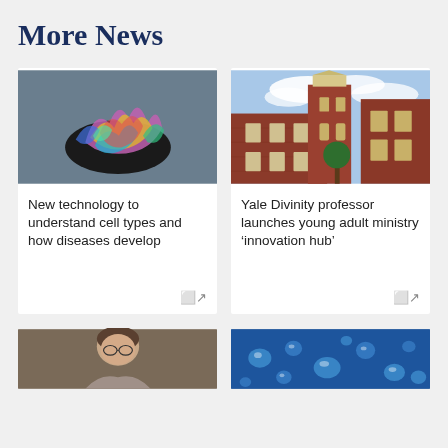More News
[Figure (photo): Colorful molecular structure visualization on dark background — pink, yellow, teal, blue intertwined strands]
New technology to understand cell types and how diseases develop
[Figure (photo): Yale Divinity School brick building with white tower/steeple against cloudy blue sky]
Yale Divinity professor launches young adult ministry ‘innovation hub’
[Figure (photo): Portrait of a person with glasses and short hair against brown background]
[Figure (photo): Close-up of water droplets on a blue surface]